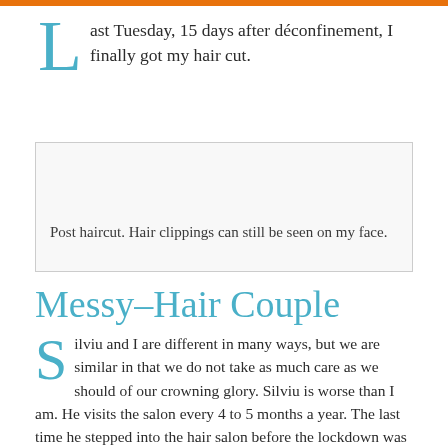Last Tuesday, 15 days after déconfinement, I finally got my hair cut.
[Figure (photo): Post haircut photo, mostly blank/white space in this crop]
Post haircut. Hair clippings can still be seen on my face.
Messy–Hair Couple
Silviu and I are different in many ways, but we are similar in that we do not take as much care as we should of our crowning glory. Silviu is worse than I am. He visits the salon every 4 to 5 months a year. The last time he stepped into the hair salon before the lockdown was in the fall of 2019. With the 2 months of lockdown, he accumulated 7 months of unruly and frizzy curly locks.